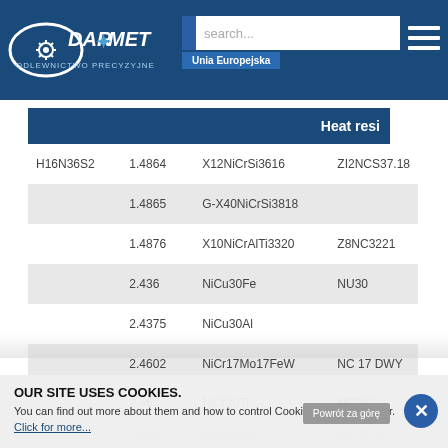DAR MET - Unia Europejska header with search
Heat resi
|  | Material No. | EN designation | Other |
| --- | --- | --- | --- |
| H16N36S2 | 1.4864 | X12NiCrSi3616 | ZI2NCS37.18 |
|  | 1.4865 | G-X40NiCrSi3818 |  |
|  | 1.4876 | X10NiCrAlTi3320 | Z8NC3221 |
|  | 2.436 | NiCu30Fe | NU30 |
|  | 2.4375 | NiCu30Al |  |
|  | 2.4602 | NiCr17Mo17FeW | NC 17 DWY |
|  | 2.463 | NiCr20Ti | NC20T |
|  | 2.4631 | NiCr20TiAl | NC 20 TA |
|  | 2.4816 | NiCr15Fe | NA 15 |
|  | 2.4856 | NiCr22Mo9Nb | NC 22 D Nb |
OUR SITE USES COOKIES. You can find out more about them and how to control Cookies in your browser. Click for more...